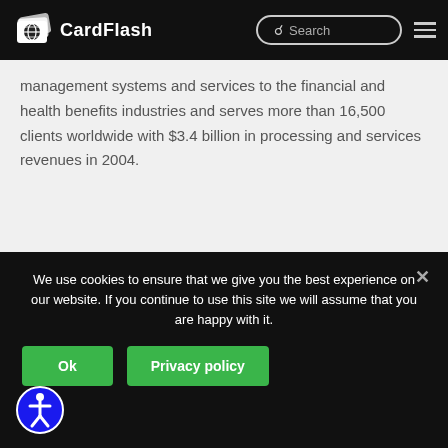CardFlash
management systems and services to the financial and health benefits industries and serves more than 16,500 clients worldwide with $3.4 billion in processing and services revenues in 2004.
Fiserv to be First Processor to Certify with CUSC's NGN
5. Country Priority UNITED STATES • By Robert McKinley •
We use cookies to ensure that we give you the best experience on our website. If you continue to use this site we will assume that you are happy with it.